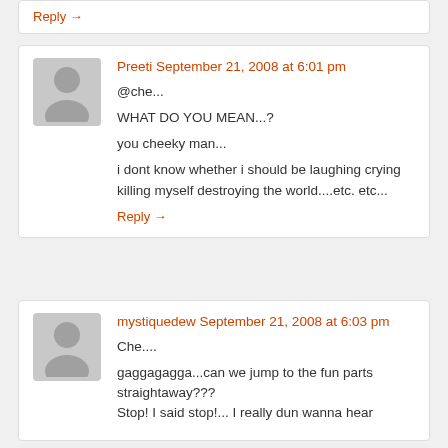Reply →
Preeti September 21, 2008 at 6:01 pm
@che...
WHAT DO YOU MEAN...?
you cheeky man...
i dont know whether i should be laughing crying killing myself destroying the world....etc. etc...
Reply →
mystiquedew September 21, 2008 at 6:03 pm
Che....
gaggagagga...can we jump to the fun parts straightaway???
Stop! I said stop!... I really dun wanna hear